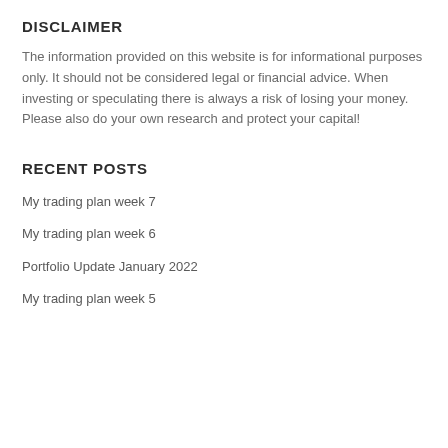DISCLAIMER
The information provided on this website is for informational purposes only. It should not be considered legal or financial advice. When investing or speculating there is always a risk of losing your money. Please also do your own research and protect your capital!
RECENT POSTS
My trading plan week 7
My trading plan week 6
Portfolio Update January 2022
My trading plan week 5